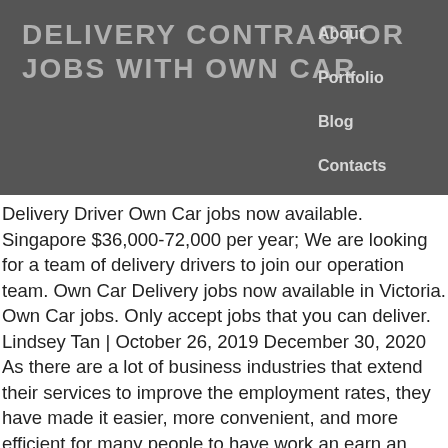DELIVERY CONTRACTOR JOBS WITH OWN CAR
About
Portfolio
Blog
Contacts
Delivery Driver Own Car jobs now available. Singapore $36,000-72,000 per year; We are looking for a team of delivery drivers to join our operation team. Own Car Delivery jobs now available in Victoria. Own Car jobs. Only accept jobs that you can deliver. Lindsey Tan | October 26, 2019 December 30, 2020 As there are a lot of business industries that extend their services to improve the employment rates, they have made it easier, more convenient, and more efficient for many people to have work and earn an income. Quickly find and apply for your next job opportunity on Workopolis. Home Job Seekers. DoorDash is one of the best delivery driver jobs, you simply pick up and drop off